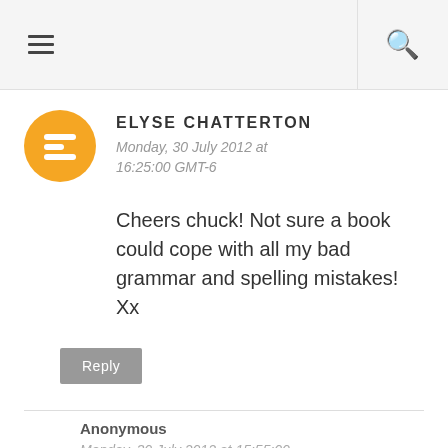≡  🔍
ELYSE CHATTERTON
Monday, 30 July 2012 at 16:25:00 GMT-6
Cheers chuck! Not sure a book could cope with all my bad grammar and spelling mistakes! Xx
Reply
Anonymous
Monday, 30 July 2012 at 15:55:00 GMT-6